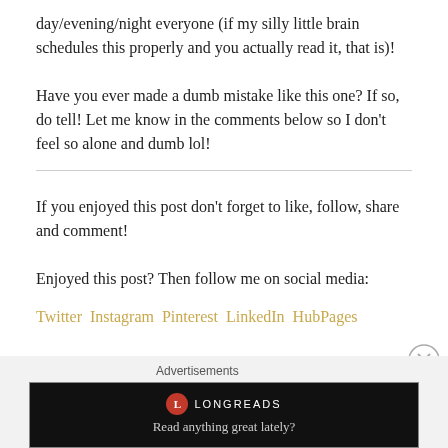day/evening/night everyone (if my silly little brain schedules this properly and you actually read it, that is)!
Have you ever made a dumb mistake like this one? If so, do tell! Let me know in the comments below so I don't feel so alone and dumb lol!
If you enjoyed this post don't forget to like, follow, share and comment!
Enjoyed this post? Then follow me on social media:
Twitter Instagram Pinterest LinkedIn HubPages
Email me on(guest posts welcome!):
[Figure (screenshot): Longreads advertisement banner with logo and tagline 'Read anything great lately?' on black background]